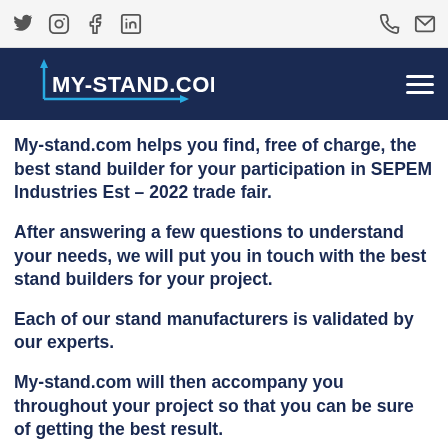MY-STAND.COM — social/nav header
My-stand.com helps you find, free of charge, the best stand builder for your participation in SEPEM Industries Est – 2022 trade fair.
After answering a few questions to understand your needs, we will put you in touch with the best stand builders for your project.
Each of our stand manufacturers is validated by our experts.
My-stand.com will then accompany you throughout your project so that you can be sure of getting the best result.